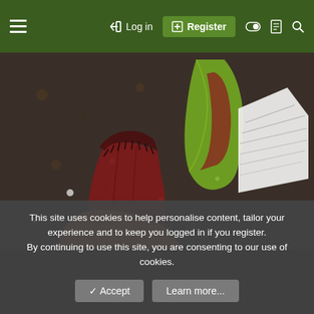≡   →) Log in   ⊞ Register   ◑  🗋  🔍
[Figure (photo): Close-up photograph of a carnivorous pitcher plant (Nepenthes) being held by fingers against a background of soil and perlite. The pitcher shows red and brown coloration with cilia along the rim. Additional pitchers and a plant label tag are visible in the background.]
This site uses cookies to help personalise content, tailor your experience and to keep you logged in if you register.
By continuing to use this site, you are consenting to our use of cookies.
✓ Accept   Learn more...